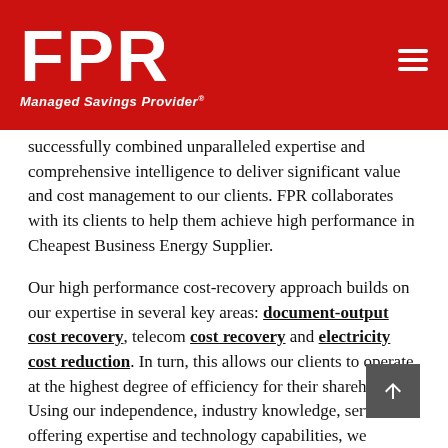FPR Managed Savings Provider
successfully combined unparalleled expertise and comprehensive intelligence to deliver significant value and cost management to our clients. FPR collaborates with its clients to help them achieve high performance in Cheapest Business Energy Supplier.
Our high performance cost-recovery approach builds on our expertise in several key areas: document-output cost recovery, telecom cost recovery and electricity cost reduction. In turn, this allows our clients to operate at the highest degree of efficiency for their shareholders. Using our independence, industry knowledge, service-offering expertise and technology capabilities, we proactively identify new technology trends and develop solutions to help clients reduce operating expenditures, improve operational performance and streamline business